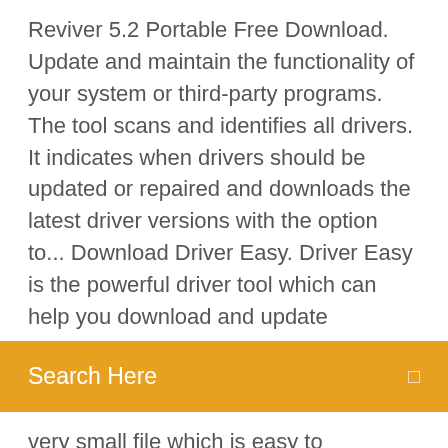Reviver 5.2 Portable Free Download. Update and maintain the functionality of your system or third-party programs. The tool scans and identifies all drivers. It indicates when drivers should be updated or repaired and downloads the latest driver versions with the option to... Download Driver Easy. Driver Easy is the powerful driver tool which can help you download and update
Search Here
very small file which is easy to install.Driver Easy - Free Download | Rocky Byteshttps://rockybytes.com/driver-easyDownload here Driver Easy for free: An easy to use program to keep all your drivers up to date. Downloaded 1,301 times!
Download firefox for android.
Download elan smbus driver
Download app for behringer x32
Download james bond download best mod gundam xp